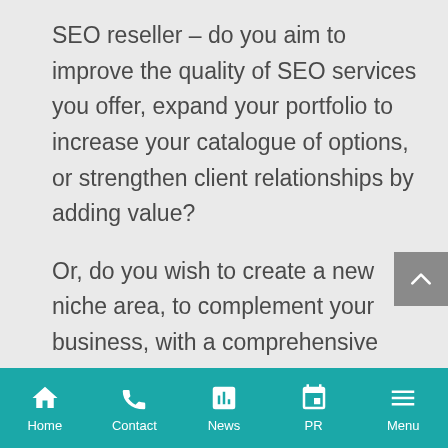SEO reseller – do you aim to improve the quality of SEO services you offer, expand your portfolio to increase your catalogue of options, or strengthen client relationships by adding value?

Or, do you wish to create a new niche area, to complement your business, with a comprehensive white label service to support your
Home | Contact | News | PR | Menu